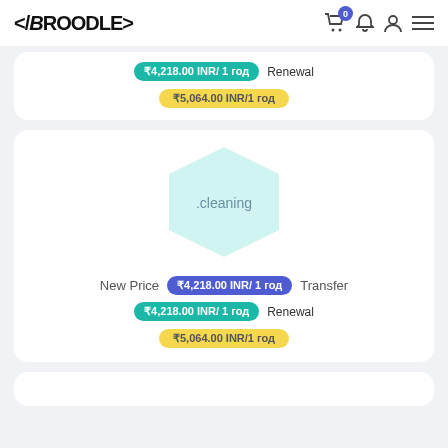</Broodle>
₹4,218.00 INR/ 1 год  Renewal
₹5,064.00 INR/1 год
[Figure (illustration): Hexagon shape with .cleaning domain text]
New Price  ₹4,218.00 INR/ 1 год  Transfer
₹4,218.00 INR/ 1 год  Renewal
₹5,064.00 INR/1 год